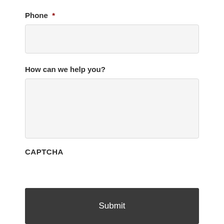Phone *
[Figure (other): Phone input text field, empty, light gray background with border]
How can we help you?
[Figure (other): Multi-line textarea input field, empty, light gray background with border]
CAPTCHA
[Figure (other): Submit button, dark gray background with white Submit text]